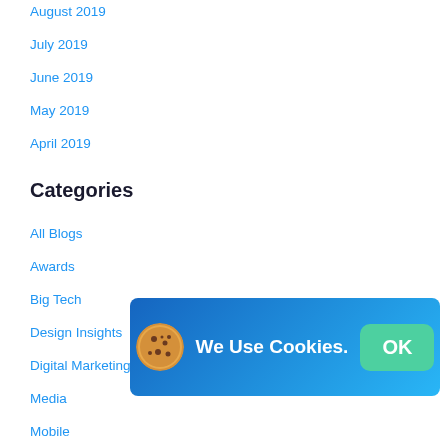August 2019
July 2019
June 2019
May 2019
April 2019
Categories
All Blogs
Awards
Big Tech
Design Insights
Digital Marketing
Media
Mobile
News
[Figure (screenshot): Cookie consent banner with blue gradient background, cookie icon, 'We Use Cookies.' text, and an OK button]